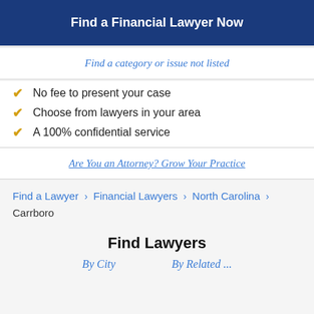Find a Financial Lawyer Now
Find a category or issue not listed
No fee to present your case
Choose from lawyers in your area
A 100% confidential service
Are You an Attorney? Grow Your Practice
Find a Lawyer > Financial Lawyers > North Carolina > Carrboro
Find Lawyers
By City   By Related ...